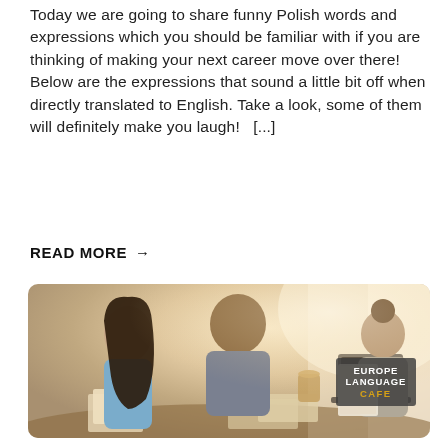Today we are going to share funny Polish words and expressions which you should be familiar with if you are thinking of making your next career move over there! Below are the expressions that sound a little bit off when directly translated to English. Take a look, some of them will definitely make you laugh!  [...]
READ MORE →
[Figure (photo): Three people studying together at a table with books and a laptop. A woman in a blue top on the left, a man in a grey sweater in the middle leaning in, and a woman with her back to the camera on the right holding a book. Warm backlit lighting. Europe Language Cafe logo badge in the bottom right corner.]